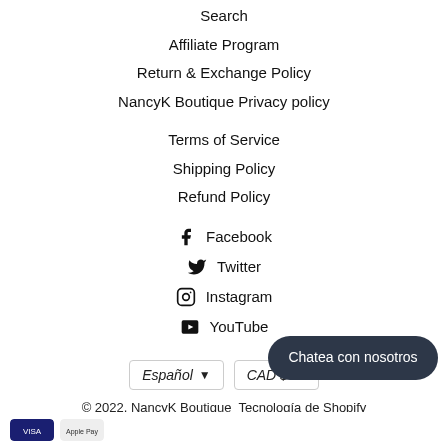Search
Affiliate Program
Return & Exchange Policy
NancyK Boutique Privacy policy
Terms of Service
Shipping Policy
Refund Policy
Facebook
Twitter
Instagram
YouTube
Español ▾   CAD $ ▾
© 2022, NancyK Boutique  Tecnología de Shopify
Chatea con nosotros